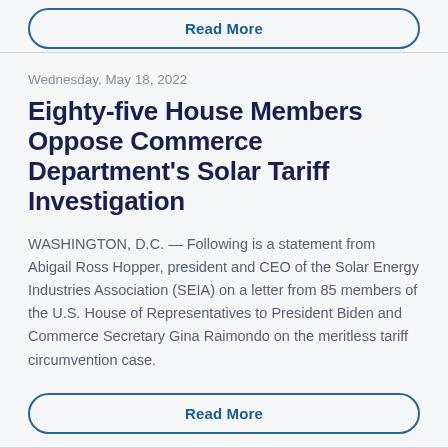Read More
Wednesday, May 18, 2022
Eighty-five House Members Oppose Commerce Department's Solar Tariff Investigation
WASHINGTON, D.C. — Following is a statement from Abigail Ross Hopper, president and CEO of the Solar Energy Industries Association (SEIA) on a letter from 85 members of the U.S. House of Representatives to President Biden and Commerce Secretary Gina Raimondo on the meritless tariff circumvention case.
Read More